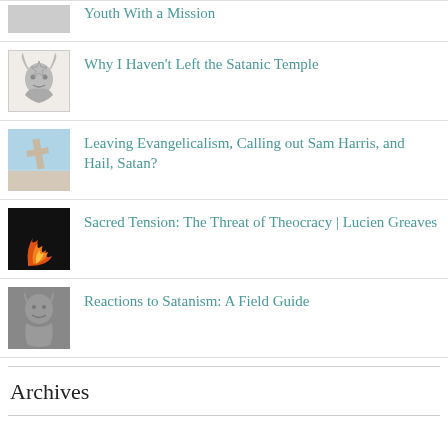Youth With a Mission
Why I Haven't Left the Satanic Temple
Leaving Evangelicalism, Calling out Sam Harris, and Hail, Satan?
Sacred Tension: The Threat of Theocracy | Lucien Greaves
Reactions to Satanism: A Field Guide
Archives